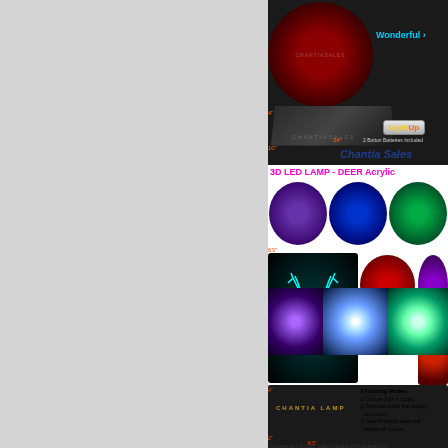[Figure (photo): Left gray panel taking up approximately 60% of page width]
[Figure (photo): Product photo of rose LED light arrangement in circular pattern with dark background, showing Chantia Sales branding. Includes box product image with dimensions 4 inch height, 10 inch width, 24 inch length. LightUp button badge shown. 2 Button Batteries Included text visible.]
Wonderful
LightUp
2 Button Batteries Included
4"
10"
24"
Chantia Sales
3D LED LAMP - DEER Acrylic
[Figure (photo): 3D LED Deer Acrylic lamp product shown in multiple colors: purple, blue, green in top row; large teal deer silhouette on left; red and purple oval images on right. Item info: ITEM#:T641359, Package Included: 1x 3D Acrylic Plate, 1x ABS LED Light Base, 1x USB cabled]
ITEM#:T641359
Package Included:
1 x 3D Acrylic Plate
1 x ABS LED Light Base
1 x USB cabled
3 Flashing Modes:
1) Choose from 7 colour;
2) Flashced mode that display all colours.
3) Slow Flashing mode that display all colours
Operates on both USB (cable included) or AA batteries (not
[Figure (photo): Three LED illuminated flower/rose product images at bottom showing purple, white/blue, and green glowing flowers]